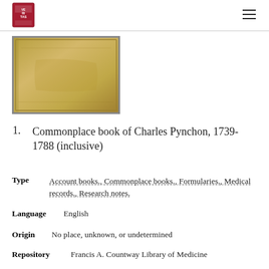Harvard University Library
[Figure (photo): Photograph of an old tan/brown vellum-covered book, the cover showing a worn and aged surface.]
1.  Commonplace book of Charles Pynchon, 1739-1788 (inclusive)
Type   Account books., Commonplace books., Formularies., Medical records., Research notes.
Language   English
Origin   No place, unknown, or undetermined
Repository   Francis A. Countway Library of Medicine